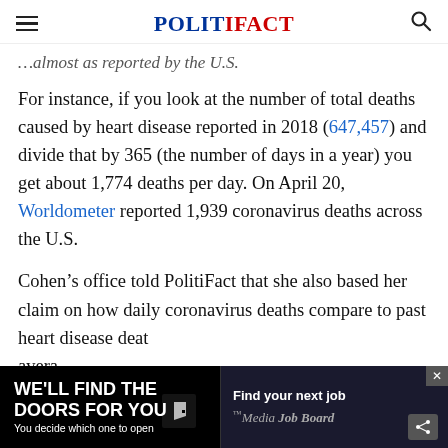POLITIFACT
...almost as reported by the U.S.
For instance, if you look at the number of total deaths caused by heart disease reported in 2018 (647,457) and divide that by 365 (the number of days in a year) you get about 1,774 deaths per day. On April 20, Worldometer reported 1,939 coronavirus deaths across the U.S.
Cohen’s office told PolitiFact that she also based her claim on how daily coronavirus deaths compare to past heart disease dea... avera...
[Figure (screenshot): Advertisement banner: 'WE'LL FIND THE DOORS FOR YOU / You decide which one to open' and 'Find your next job / Media Job Board']